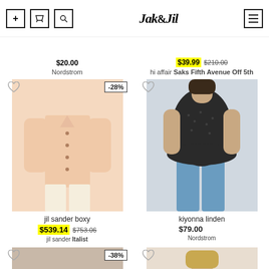Jak&Jil
$20.00 | Nordstrom
$39.99 $210.00 | hi affair Saks Fifth Avenue Off 5th
[Figure (photo): Light pink/peach button-down boxy shirt on a model, no face visible]
jil sander boxy
$539.14 $753.06
jil sander Italist
[Figure (photo): Woman wearing black lace peplum top with jeans]
kiyonna linden
$79.00
Nordstrom
[Figure (photo): Taupe/mauve button-down collared shirt, partial view]
[Figure (photo): Woman wearing light beige short-sleeve knit top, partial view]